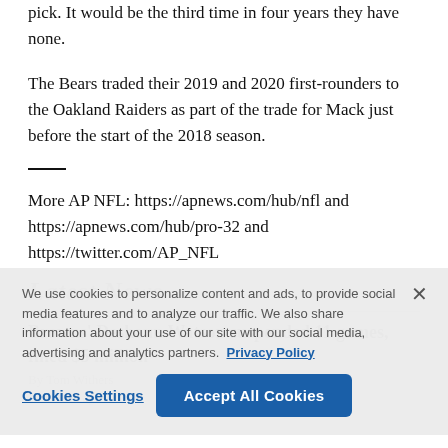pick. It would be the third time in four years they have none.
The Bears traded their 2019 and 2020 first-rounders to the Oakland Raiders as part of the trade for Mack just before the start of the 2018 season.
More AP NFL: https://apnews.com/hub/nfl and https://apnews.com/hub/pro-32 and https://twitter.com/AP_NFL
Latest News
Browns' Deshaun Watson suspended 11 games, fined $5 million
By Tom Withers
3 minutes ago
We use cookies to personalize content and ads, to provide social media features and to analyze our traffic. We also share information about your use of our site with our social media, advertising and analytics partners. Privacy Policy
Cookies Settings
Accept All Cookies